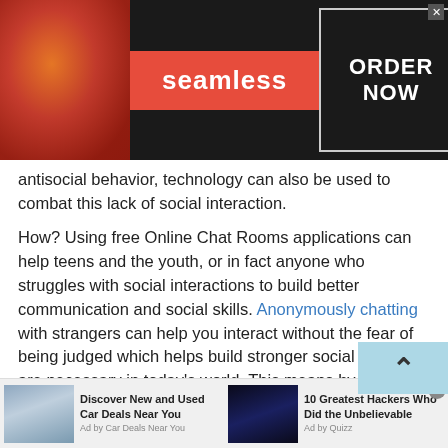[Figure (screenshot): Seamless food delivery advertisement banner with pizza image on left, red Seamless button in center, and ORDER NOW box on right with close X button]
antisocial behavior, technology can also be used to combat this lack of social interaction.
How? Using free Online Chat Rooms applications can help teens and the youth, or in fact anyone who struggles with social interactions to build better communication and social skills. Anonymously chatting with strangers can help you interact without the fear of being judged which helps build stronger social skills that are necessary in today’s world. This means by interacting on a digital platform, you can actually improve your face-to-face
[Figure (screenshot): Bottom advertisement bar with two ad items: 'Discover New and Used Car Deals Near You' by Car Deals Near You, and '10 Greatest Hackers Who Did the Unbelievable' by Quizz. Close button in top right.]